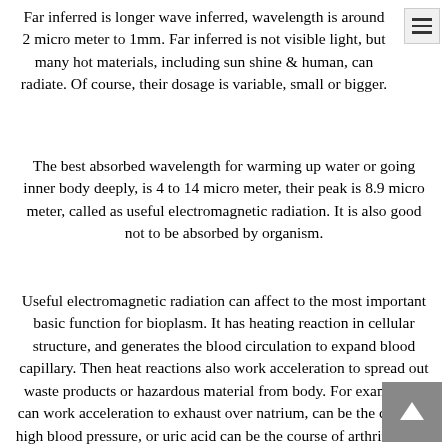Far inferred is longer wave inferred, wavelength is around 2 micro meter to 1mm. Far inferred is not visible light, but many hot materials, including sun shine & human, can radiate. Of course, their dosage is variable, small or bigger.
The best absorbed wavelength for warming up water or going inner body deeply, is 4 to 14 micro meter, their peak is 8.9 micro meter, called as useful electromagnetic radiation. It is also good not to be absorbed by organism.
Useful electromagnetic radiation can affect to the most important basic function for bioplasm. It has heating reaction in cellular structure, and generates the blood circulation to expand blood capillary. Then heat reactions also work acceleration to spread out waste products or hazardous material from body. For example, it can work acceleration to exhaust over natrium, can be the cause of high blood pressure, or uric acid can be the course of arthritis. Also work to improve the circulation of solution for cell and increase calcium ions in